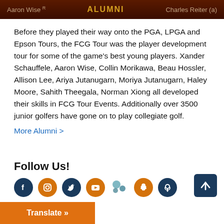Aaron Wise  ALUMNI  Charles Reiter (a)
Before they played their way onto the PGA, LPGA and Epson Tours, the FCG Tour was the player development tour for some of the game's best young players. Xander Schauffele, Aaron Wise, Collin Morikawa, Beau Hossler, Allison Lee, Ariya Jutanugarn, Moriya Jutanugarn, Haley Moore, Sahith Theegala, Norman Xiong all developed their skills in FCG Tour Events. Additionally over 3500 junior golfers have gone on to play collegiate golf.
More Alumni >
Follow Us!
[Figure (infographic): Row of social media icons: Facebook (dark blue circle), Instagram (orange circle), Twitter (dark blue circle), YouTube (orange circle), Google+ (teal/dark), Snapchat (orange circle), Podcast (dark blue circle)]
[Figure (infographic): Back to top button: dark navy blue square with upward arrow]
Translate »